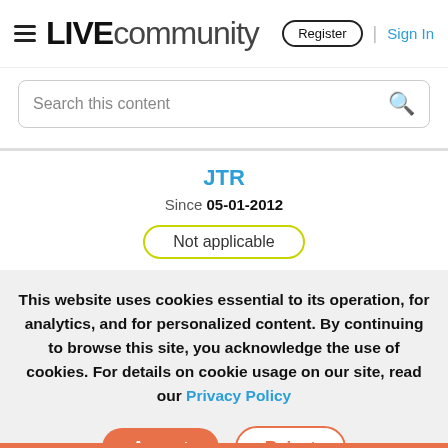LIVE community | Register | Sign In
Search this content
JTR
Since 05-01-2012
Not applicable
This website uses cookies essential to its operation, for analytics, and for personalized content. By continuing to browse this site, you acknowledge the use of cookies. For details on cookie usage on our site, read our Privacy Policy
Accept   Reject